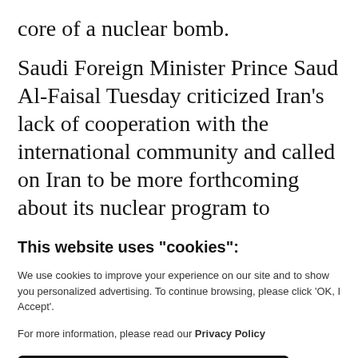core of a nuclear bomb.
Saudi Foreign Minister Prince Saud Al-Faisal Tuesday criticized Iran’s lack of cooperation with the international community and called on Iran to be more forthcoming about its nuclear program to remove any doubts that surround its
This website uses "cookies":
We use cookies to improve your experience on our site and to show you personalized advertising. To continue browsing, please click ‘OK, I Accept’.
For more information, please read our Privacy Policy
Ok, I Accept